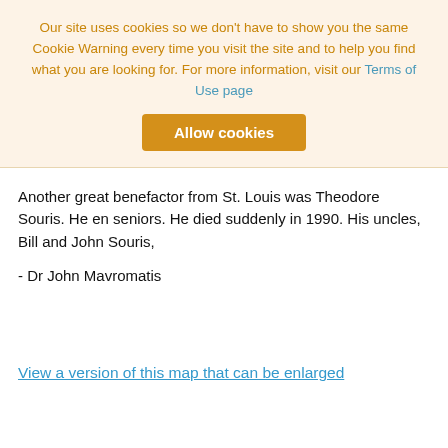Our site uses cookies so we don't have to show you the same Cookie Warning every time you visit the site and to help you find what you are looking for. For more information, visit our Terms of Use page
Allow cookies
Another great benefactor from St. Louis was Theodore Souris. He en seniors. He died suddenly in 1990. His uncles, Bill and John Souris,
- Dr John Mavromatis
View a version of this map that can be enlarged
View a version of this map that can be enlarged